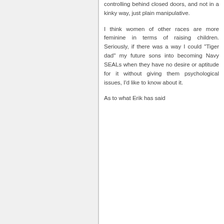controlling behind closed doors, and not in a kinky way, just plain manipulative.
I think women of other races are more feminine in terms of raising children. Seriously, if there was a way I could "Tiger dad" my future sons into becoming Navy SEALs when they have no desire or aptitude for it without giving them psychological issues, I'd like to know about it.
As to what Erik has said